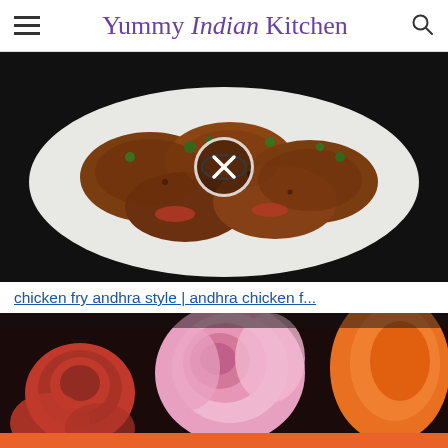Yummy Indian Kitchen
[Figure (photo): Chicken fry dish on a white plate, garnished with herbs, on a dark background, with a circular X/close button overlay in the center]
chicken fry andhra style | andhra chicken f...
[Figure (photo): Colorful flowers — pink roses, red roses and orange flowers — on a dark background]
[Figure (infographic): Orange Direct Relief advertisement banner: 'Help send medical aid to Ukraine >>' with Direct Relief logo on right]